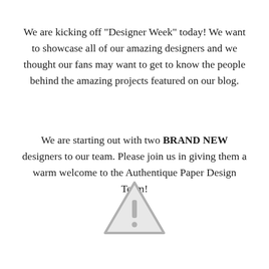We are kicking off "Designer Week" today! We want to showcase all of our amazing designers and we thought our fans may want to get to know the people behind the amazing projects featured on our blog.
We are starting out with two BRAND NEW designers to our team. Please join us in giving them a warm welcome to the Authentique Paper Design Team!
[Figure (illustration): A light gray warning/caution triangle icon with an exclamation mark inside]